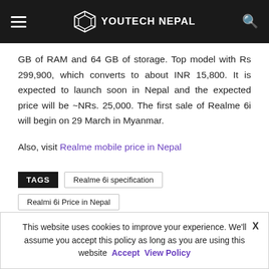YOUTECH NEPAL
GB of RAM and 64 GB of storage. Top model with Rs 299,900, which converts to about INR 15,800. It is expected to launch soon in Nepal and the expected price will be ~NRs. 25,000. The first sale of Realme 6i will begin on 29 March in Myanmar.
Also, visit Realme mobile price in Nepal
TAGS  Realme 6i specification  Realmi 6i Price in Nepal
This website uses cookies to improve your experience. We'll assume you accept this policy as long as you are using this website  Accept  View Policy